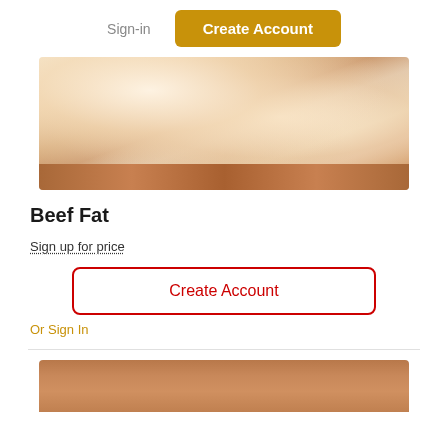Sign-in   Create Account
[Figure (photo): Beef fat cut on a wooden cutting board, light cream/beige colored with some pink fatty tissue visible]
Beef Fat
Sign up for price
Create Account
Or Sign In
[Figure (photo): Partial view of another meat product on a wooden surface, showing the wooden board texture mostly]